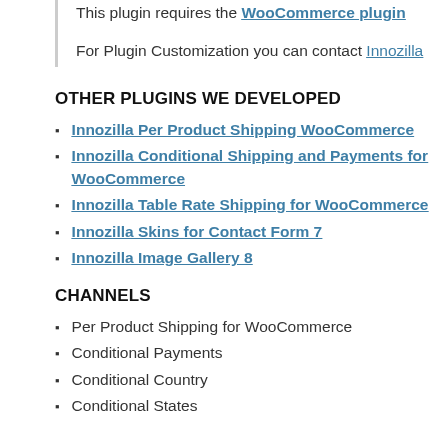This plugin requires the WooCommerce plugin
For Plugin Customization you can contact Innozilla
OTHER PLUGINS WE DEVELOPED
Innozilla Per Product Shipping WooCommerce
Innozilla Conditional Shipping and Payments for WooCommerce
Innozilla Table Rate Shipping for WooCommerce
Innozilla Skins for Contact Form 7
Innozilla Image Gallery 8
CHANNELS
Per Product Shipping for WooCommerce
Conditional Payments
Conditional Country
Conditional States